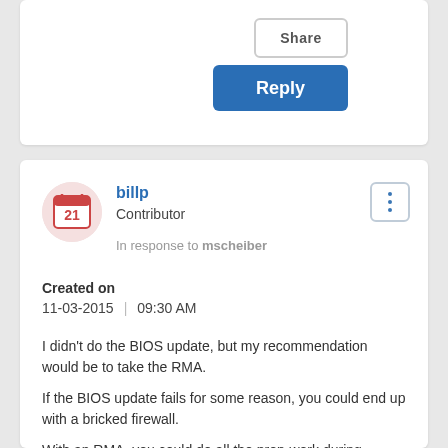Share
Reply
[Figure (illustration): User avatar icon showing a calendar with the number 21, in pinkish/red tones, circular crop]
billp
Contributor
In response to mscheiber
Created on
11-03-2015 | 09:30 AM
I didn't do the BIOS update, but my recommendation would be to take the RMA.
If the BIOS update fails for some reason, you could end up with a bricked firewall.
With an RMA, you could do all the prep-work during working hours and then schedule a quick swap during off-hours. If there are any issues, you have the reassurance of having the old